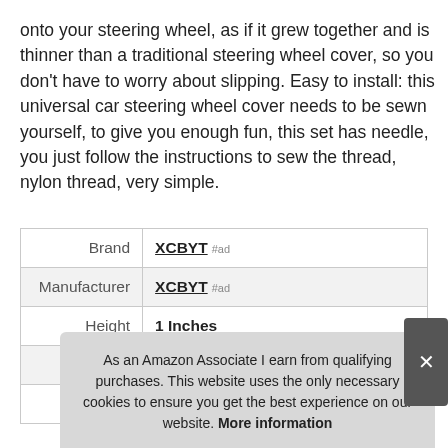onto your steering wheel, as if it grew together and is thinner than a traditional steering wheel cover, so you don't have to worry about slipping. Easy to install: this universal car steering wheel cover needs to be sewn yourself, to give you enough fun, this set has needle, you just follow the instructions to sew the thread, nylon thread, very simple.
|  |  |
| --- | --- |
| Brand | XCBYT #ad |
| Manufacturer | XCBYT #ad |
| Height | 1 Inches |
| Length | 15 Inches |
| P |  |
As an Amazon Associate I earn from qualifying purchases. This website uses the only necessary cookies to ensure you get the best experience on our website. More information